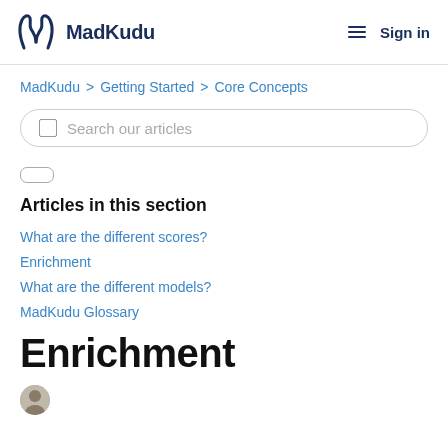MadKudu  Sign in
MadKudu > Getting Started > Core Concepts
Search our articles
Articles in this section
What are the different scores?
Enrichment
What are the different models?
MadKudu Glossary
Enrichment